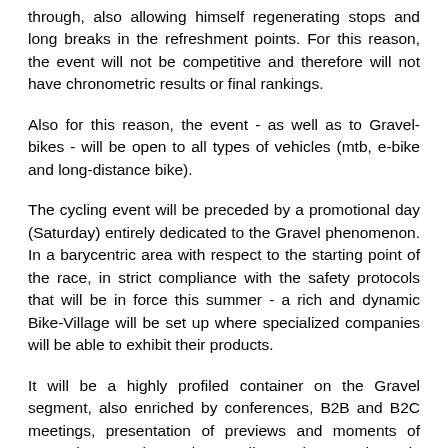through, also allowing himself regenerating stops and long breaks in the refreshment points. For this reason, the event will not be competitive and therefore will not have chronometric results or final rankings.
Also for this reason, the event - as well as to Gravel-bikes - will be open to all types of vehicles (mtb, e-bike and long-distance bike).
The cycling event will be preceded by a promotional day (Saturday) entirely dedicated to the Gravel phenomenon. In a barycentric area with respect to the starting point of the race, in strict compliance with the safety protocols that will be in force this summer - a rich and dynamic Bike-Village will be set up where specialized companies will be able to exhibit their products.
It will be a highly profiled container on the Gravel segment, also enriched by conferences, B2B and B2C meetings, presentation of previews and moments of entertainment. The goal, according to the organizers, is the affirmation of a promotion and hospitality model that can generate arrivals and presences in